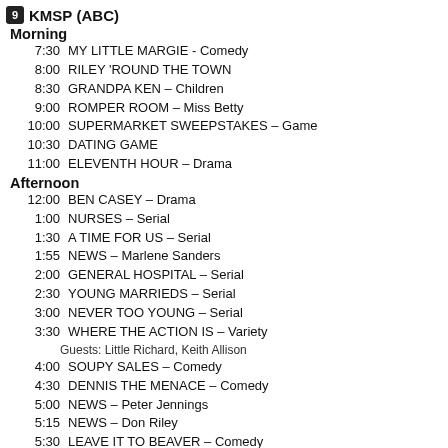9 KMSP (ABC)
Morning
7:30   MY LITTLE MARGIE - Comedy
8:00   RILEY 'ROUND THE TOWN
8:30   GRANDPA KEN – Children
9:00   ROMPER ROOM – Miss Betty
10:00   SUPERMARKET SWEEPSTAKES – Game
10:30   DATING GAME
11:00   ELEVENTH HOUR – Drama
Afternoon
12:00   BEN CASEY – Drama
1:00   NURSES – Serial
1:30   A TIME FOR US – Serial
1:55   NEWS – Marlene Sanders
2:00   GENERAL HOSPITAL – Serial
2:30   YOUNG MARRIEDS – Serial
3:00   NEVER TOO YOUNG – Serial
3:30   WHERE THE ACTION IS – Variety
Guests: Little Richard, Keith Allison
4:00   SOUPY SALES – Comedy
4:30   DENNIS THE MENACE – Comedy
5:00   NEWS – Peter Jennings
5:15   NEWS – Don Riley
5:30   LEAVE IT TO BEAVER – Comedy